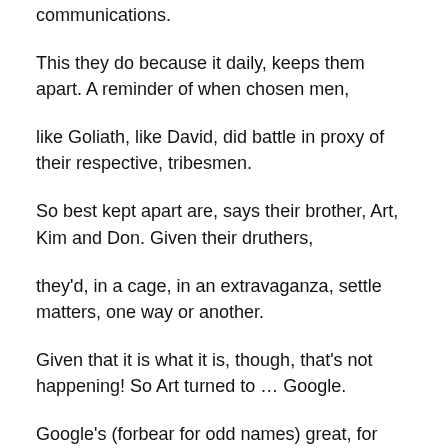communications.
This they do because it daily, keeps them apart. A reminder of when chosen men,
like Goliath, like David, did battle in proxy of their respective, tribesmen.
So best kept apart are, says their brother, Art, Kim and Don. Given their druthers,
they'd, in a cage, in an extravaganza, settle matters, one way or another.
Given that it is what it is, though, that's not happening! So Art turned to … Google.
Google's (forbear for odd names) great, for names, needed to be, googled.